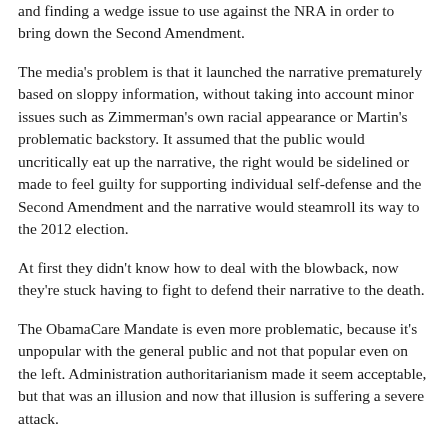and finding a wedge issue to use against the NRA in order to bring down the Second Amendment.
The media's problem is that it launched the narrative prematurely based on sloppy information, without taking into account minor issues such as Zimmerman's own racial appearance or Martin's problematic backstory. It assumed that the public would uncritically eat up the narrative, the right would be sidelined or made to feel guilty for supporting individual self-defense and the Second Amendment and the narrative would steamroll its way to the 2012 election.
At first they didn't know how to deal with the blowback, now they're stuck having to fight to defend their narrative to the death.
The ObamaCare Mandate is even more problematic, because it's unpopular with the general public and not that popular even on the left. Administration authoritarianism made it seem acceptable, but that was an illusion and now that illusion is suffering a severe attack.